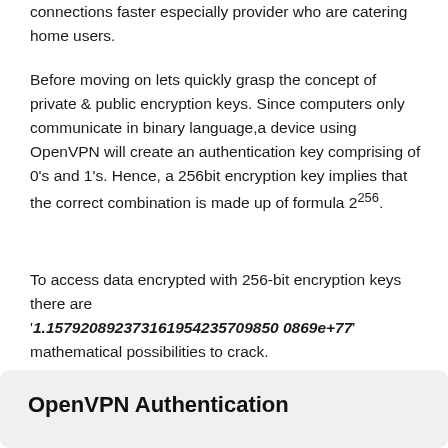connections faster especially provider who are catering home users.
Before moving on lets quickly grasp the concept of private & public encryption keys. Since computers only communicate in binary language,a device using OpenVPN will create an authentication key comprising of 0's and 1's. Hence, a 256bit encryption key implies that the correct combination is made up of formula 2^256.
To access data encrypted with 256-bit encryption keys there are '1.157920892373161954235709850 0869e+77' mathematical possibilities to crack.
OpenVPN Authentication